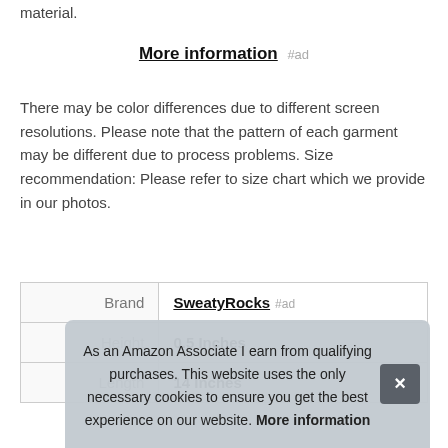material.
More information #ad
There may be color differences due to different screen resolutions. Please note that the pattern of each garment may be different due to process problems. Size recommendation: Please refer to size chart which we provide in our photos.
|  |  |
| --- | --- |
| Brand | SweatyRocks #ad |
| Height | 0.5 Inches |
| Length | 14 Inches |
As an Amazon Associate I earn from qualifying purchases. This website uses the only necessary cookies to ensure you get the best experience on our website. More information